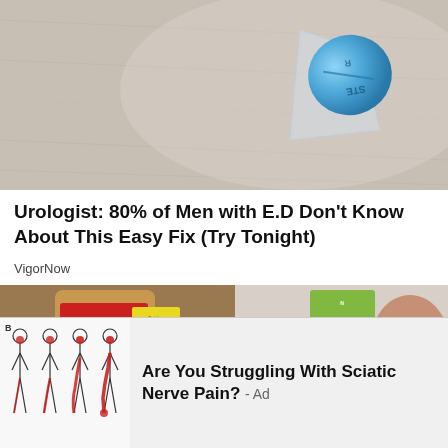[Figure (photo): Close-up photo of a blue oval pill (resembling Viagra/sildenafil) partially in a clear blister pack, on a light grey/beige fabric background]
Urologist: 80% of Men with E.D Don't Know About This Easy Fix (Try Tonight)
VigorNow
[Figure (photo): Photo showing a bottle of apple cider vinegar with red and yellow label on the left side, and what appears to be green packaging and a hand on the right side]
[Figure (illustration): Medical illustration of human figures showing sciatic nerve pain pathways down the legs, with red highlighting indicating pain areas]
Are You Struggling With Sciatic Nerve Pain? - Ad